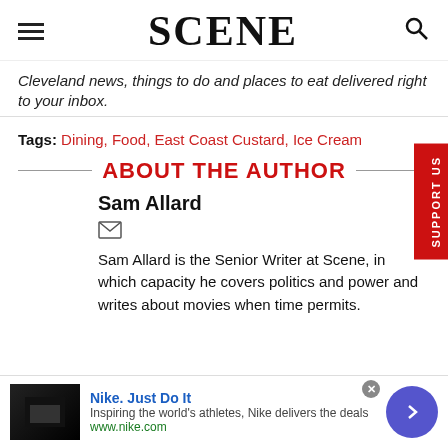SCENE
Cleveland news, things to do and places to eat delivered right to your inbox.
Tags: Dining, Food, East Coast Custard, Ice Cream
ABOUT THE AUTHOR
Sam Allard
Sam Allard is the Senior Writer at Scene, in which capacity he covers politics and power and writes about movies when time permits.
[Figure (screenshot): Advertisement banner: Nike. Just Do It — Inspiring the world's athletes, Nike delivers the deals — www.nike.com]